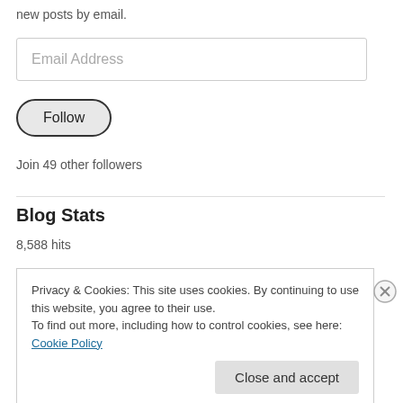new posts by email.
[Figure (other): Email Address input field]
[Figure (other): Follow button, pill-shaped with dark border]
Join 49 other followers
Blog Stats
8,588 hits
Privacy & Cookies: This site uses cookies. By continuing to use this website, you agree to their use.
To find out more, including how to control cookies, see here: Cookie Policy
Close and accept